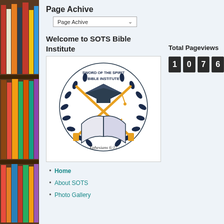[Figure (illustration): Bookshelf with colorful books on left side of page]
Page Achive
Page Achive (dropdown)
Welcome to SOTS Bible Institute
[Figure (logo): Sword of the Spirit Bible Institute logo — graduation cap over an open book with two crossed swords, surrounded by laurel wreath. Text: SWORD OF THE SPIRIT BIBLE INSTITUTE, Ephesians 6:17]
Home
About SOTS
Photo Gallery
Total Pageviews
1076